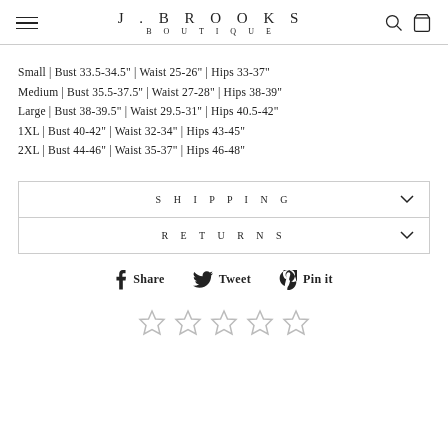J. BROOKS BOUTIQUE
Small | Bust 33.5-34.5" | Waist 25-26" | Hips 33-37"
Medium | Bust 35.5-37.5" | Waist 27-28" | Hips 38-39"
Large | Bust 38-39.5" | Waist 29.5-31" | Hips 40.5-42"
1XL | Bust 40-42" | Waist 32-34" | Hips 43-45"
2XL | Bust 44-46" | Waist 35-37" | Hips 46-48"
SHIPPING
RETURNS
Share   Tweet   Pin it